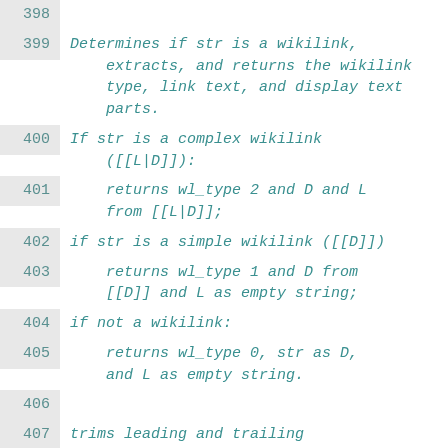398 (empty line)
399 Determines if str is a wikilink, extracts, and returns the wikilink type, link text, and display text parts.
400 If str is a complex wikilink ([[L|D]]):
401     returns wl_type 2 and D and L from [[L|D]];
402 if str is a simple wikilink ([[D]])
403     returns wl_type 1 and D from [[D]] and L as empty string;
404 if not a wikilink:
405     returns wl_type 0, str as D, and L as empty string.
406 (empty line)
407 trims leading and trailing